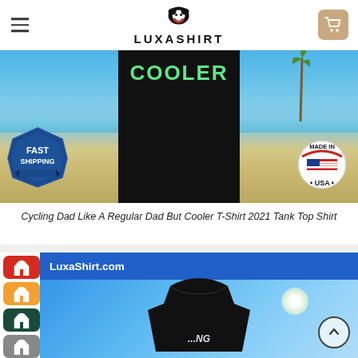LUXASHIRT
[Figure (photo): Product listing photo for Cycling Dad Like A Regular Dad But Cooler T-Shirt 2021 Tank Top Shirt — shows black shirt on beach background with Fast Shipping badge and Made in USA badge]
Cycling Dad Like A Regular Dad But Cooler T-Shirt 2021 Tank Top Shirt
[Figure (screenshot): Second product listing showing LuxaShirt.com banner with a black sweatshirt on blue sky background, sidebar with colored shirt icons]